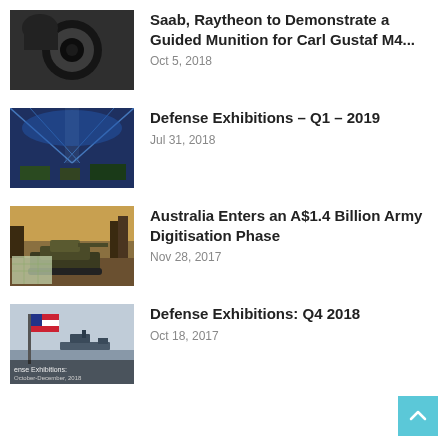[Figure (photo): Close-up of a soldier looking through the barrel of a weapon, black and white tones]
Saab, Raytheon to Demonstrate a Guided Munition for Carl Gustaf M4...
Oct 5, 2018
[Figure (photo): Night view of a large exhibition hall with blue lighting and military equipment]
Defense Exhibitions – Q1 – 2019
Jul 31, 2018
[Figure (photo): Military tank in a wooded autumn setting with a map overlay]
Australia Enters an A$1.4 Billion Army Digitisation Phase
Nov 28, 2017
[Figure (photo): Defense Exhibitions Q4 2018 thumbnail with naval ships and US flag]
Defense Exhibitions: Q4 2018
Oct 18, 2017